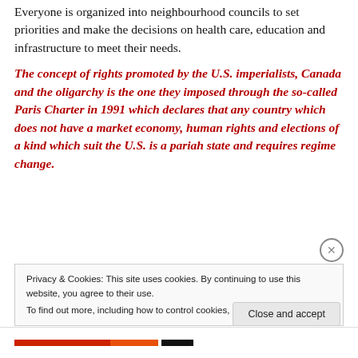Everyone is organized into neighbourhood councils to set priorities and make the decisions on health care, education and infrastructure to meet their needs.
The concept of rights promoted by the U.S. imperialists, Canada and the oligarchy is the one they imposed through the so-called Paris Charter in 1991 which declares that any country which does not have a market economy, human rights and elections of a kind which suit the U.S. is a pariah state and requires regime change.
Privacy & Cookies: This site uses cookies. By continuing to use this website, you agree to their use.
To find out more, including how to control cookies, see here: Cookie Policy